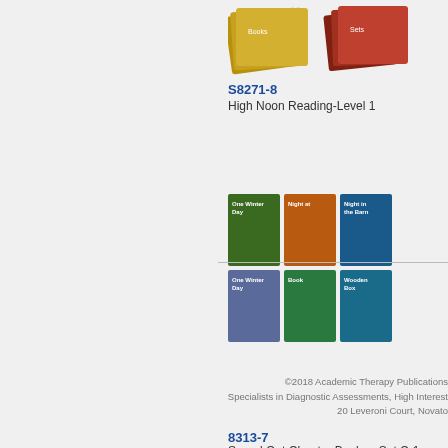[Figure (photo): Fan spread of book sets for High Noon Reading Level 1 product]
S8271-8
High Noon Reading-Level 1
[Figure (photo): Grid of 6 chapter book covers for Sound Out Chapter Books Set C-1]
8313-7
Sound Out Chapter Books - Set C-1
©2018 Academic Therapy Publications · Specialists in Diagnostic Assessments, High Interest · 20 Leveroni Court, Novato…